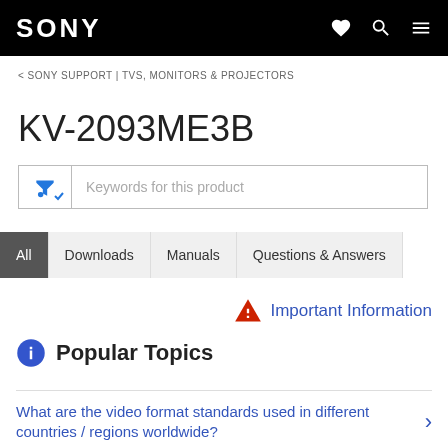SONY
< SONY SUPPORT | TVS, MONITORS & PROJECTORS
KV-2093ME3B
Keywords for this product
All | Downloads | Manuals | Questions & Answers
⚠ Important Information
ℹ Popular Topics
What are the video format standards used in different countries / regions worldwide?